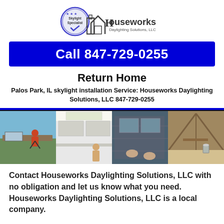[Figure (logo): Houseworks Daylighting Solutions LLC logo with skylight specialist badge and house icon]
Call 847-729-0255
Return Home
Palos Park, IL skylight installation Service: Houseworks Daylighting Solutions, LLC 847-729-0255
[Figure (photo): Four photos: worker on roof with skylight, woman in bright room, skylight installation close-up, attic interior]
Contact Houseworks Daylighting Solutions, LLC with no obligation and let us know what you need. Houseworks Daylighting Solutions, LLC is a local company.